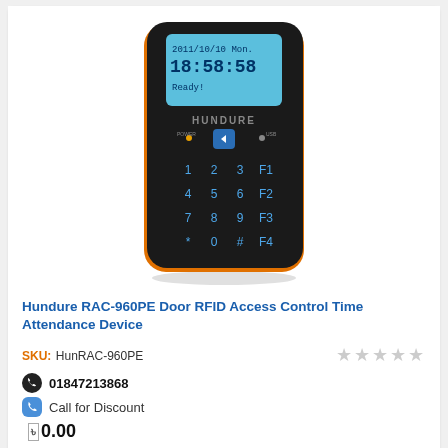[Figure (photo): Hundure RAC-960PE door RFID access control time attendance device — black rectangular unit with orange trim, LCD display showing 2011/10/10 Mon 18:58:58 Ready!, numeric keypad 1-9 plus *, 0, #, and F1-F4 function keys, HUNDURE brand label in center.]
Hundure RAC-960PE Door RFID Access Control Time Attendance Device
SKU: HunRAC-960PE
01847213868
Call for Discount
0.00